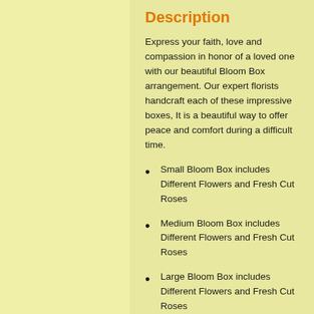Description
Express your faith, love and compassion in honor of a loved one with our beautiful Bloom Box arrangement. Our expert florists handcraft each of these impressive boxes, It is a beautiful way to offer peace and comfort during a difficult time.
Small Bloom Box includes Different Flowers and Fresh Cut Roses
Medium Bloom Box includes Different Flowers and Fresh Cut Roses
Large Bloom Box includes Different Flowers and Fresh Cut Roses